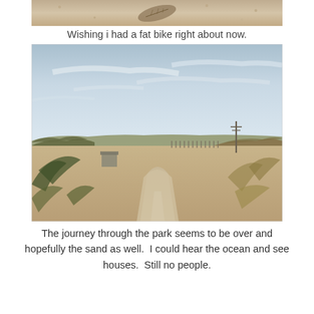[Figure (photo): Close-up of sandy surface with a leaf, top portion of a beach/dune scene]
Wishing i had a fat bike right about now.
[Figure (photo): A sandy dirt road or path through coastal scrubland/dunes leading toward the horizon, with low shrubs on both sides, a small structure on the left, fence posts visible in the middle distance, a utility pole on the right, and a hazy sky with wispy clouds overhead.]
The journey through the park seems to be over and hopefully the sand as well.  I could hear the ocean and see houses.  Still no people.